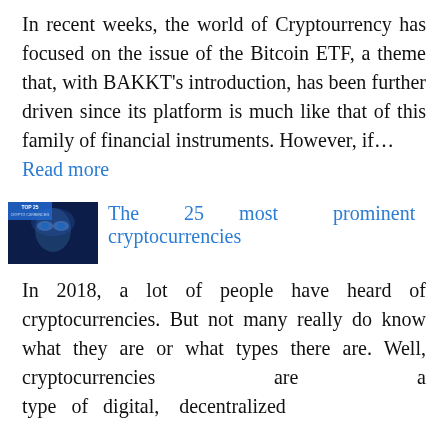In recent weeks, the world of Cryptourrency has focused on the issue of the Bitcoin ETF, a theme that, with BAKKT's introduction, has been further driven since its platform is much like that of this family of financial instruments. However, if…
Read more
The 25 most prominent cryptocurrencies
In 2018, a lot of people have heard of cryptocurrencies. But not many really do know what they are or what types there are. Well, cryptocurrencies are a type of digital, decentralized